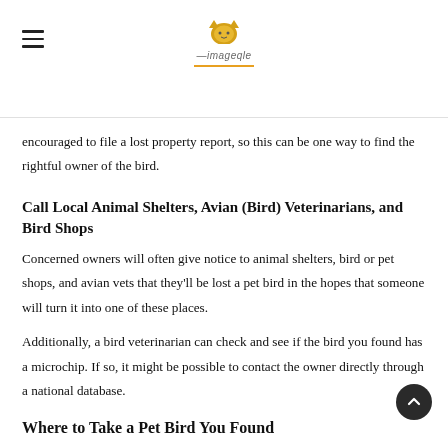[Logo: cat icon with site name and underline decoration]
encouraged to file a lost property report, so this can be one way to find the rightful owner of the bird.
Call Local Animal Shelters, Avian (Bird) Veterinarians, and Bird Shops
Concerned owners will often give notice to animal shelters, bird or pet shops, and avian vets that they'll be lost a pet bird in the hopes that someone will turn it into one of these places.
Additionally, a bird veterinarian can check and see if the bird you found has a microchip. If so, it might be possible to contact the owner directly through a national database.
Where to Take a Pet Bird You Found
…nned to care for the